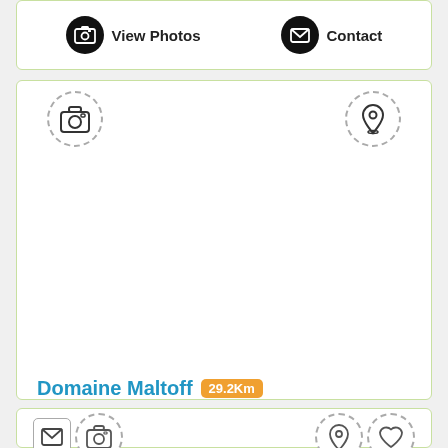[Figure (screenshot): Top card with View Photos icon button and Contact icon button]
[Figure (screenshot): Middle card showing Domaine Maltoff property listing with camera icon (dashed), location pin icon (dashed), property name 'Domaine Maltoff' with '29.2Km' distance badge, green divider line, and 'Book Now' button]
[Figure (screenshot): Bottom card showing email icon, camera icon (dashed), location pin icon (dashed), and heart icon (dashed)]